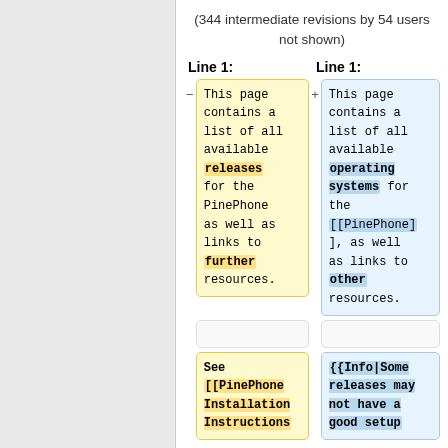(344 intermediate revisions by 54 users not shown)
Line 1:  Line 1:
[Figure (screenshot): Diff view showing two versions of wiki text side by side. Left box (yellow border): 'This page contains a list of all available releases for the PinePhone as well as links to further resources.' with 'releases' and 'further' highlighted in yellow. Right box (blue border): 'This page contains a list of all available operating systems for the [[PinePhone]], as well as links to other resources.' with 'operating systems', '[[PinePhone]]', and 'other' highlighted in blue. Below: empty boxes. Then second diff row with left yellow box starting 'See [[PinePhone Installation Instructions' and right blue box starting '{{Info|Some releases may not have a good setup'.]